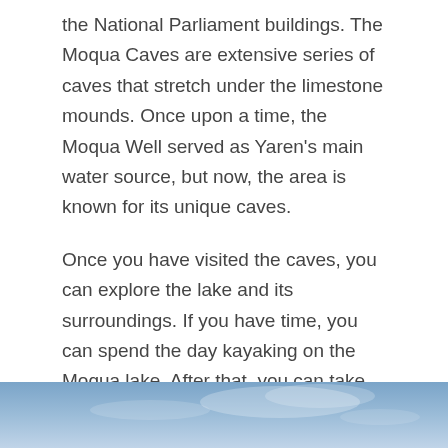the National Parliament buildings. The Moqua Caves are extensive series of caves that stretch under the limestone mounds. Once upon a time, the Moqua Well served as Yaren's main water source, but now, the area is known for its unique caves.
Once you have visited the caves, you can explore the lake and its surroundings. If you have time, you can spend the day kayaking on the Moqua lake. After that, you can take the boat or hike to the surrounding area and check out the local wildlife.
8. Nauru Government House
[Figure (photo): Partial view of a photo showing a blue sky with clouds, with some green foliage visible at the bottom left corner.]